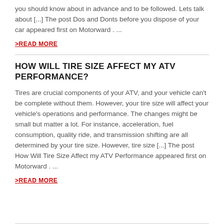you should know about in advance and to be followed. Lets talk about [...] The post Dos and Donts before you dispose of your car appeared first on Motorward . ...
>READ MORE
HOW WILL TIRE SIZE AFFECT MY ATV PERFORMANCE?
Tires are crucial components of your ATV, and your vehicle can't be complete without them. However, your tire size will affect your vehicle's operations and performance. The changes might be small but matter a lot. For instance, acceleration, fuel consumption, quality ride, and transmission shifting are all determined by your tire size. However, tire size [...] The post How Will Tire Size Affect my ATV Performance appeared first on Motorward . ...
>READ MORE